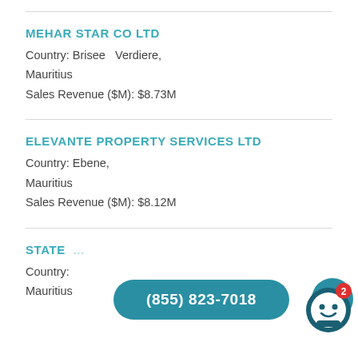MEHAR STAR CO LTD
Country: Brisee   Verdiere,
Mauritius
Sales Revenue ($M): $8.73M
ELEVANTE PROPERTY SERVICES LTD
Country: Ebene,
Mauritius
Sales Revenue ($M): $8.12M
STATE ...
Country:
Mauritius
[Figure (other): Phone call button overlay showing (855) 823-7018, mail icon button, and chatbot icon with notification badge showing 2]